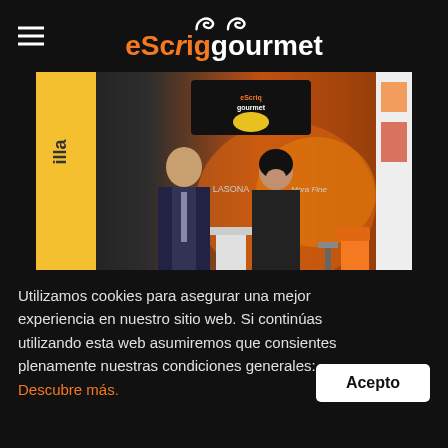eScrig gourmet
[Figure (photo): Two people standing at an eScirig Gourmet trade show booth with fruit displays, brand signage, and orange/white decor]
Utilizamos cookies para asegurar una mejor experiencia en nuestro sitio web. Si continúas utilizando esta web asumiremos que consientes plenamente nuestras condiciones generales: Descubre más.